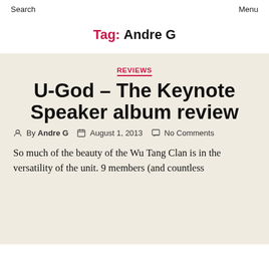Search   Menu
Tag: Andre G
REVIEWS
U-God – The Keynote Speaker album review
By Andre G   August 1, 2013   No Comments
So much of the beauty of the Wu Tang Clan is in the versatility of the unit. 9 members (and countless